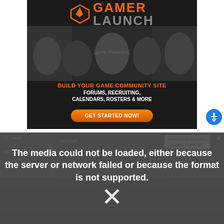[Figure (screenshot): Gamer Launch advertisement banner with logo, game characters, text 'BUILD YOUR GAME COMMUNITY SITE FORUMS, RECRUITING, CALENDARS, ROSTERS & MORE' and a 'GET STARTED NOW!' button]
[Figure (screenshot): Video player with media error overlay. Shows 'Adam Scott describes' text bubble, close button, and error message: 'The media could not be loaded, either because the server or network failed or because the format is not supported.' with large X symbol. Background shows Verizon-branded content.]